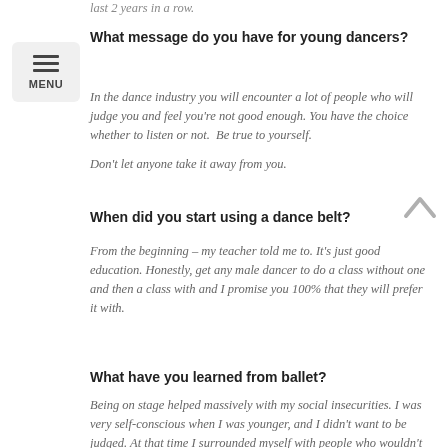last 2 years in a row.
What message do you have for young dancers?
In the dance industry you will encounter a lot of people who will judge you and feel you’re not good enough. You have the choice whether to listen or not.  Be true to yourself.

Don’t let anyone take it away from you.
When did you start using a dance belt?
From the beginning – my teacher told me to. It’s just good education. Honestly, get any male dancer to do a class without one and then a class with and I promise you 100% that they will prefer it with.
What have you learned from ballet?
Being on stage helped massively with my social insecurities. I was very self-conscious when I was younger, and I didn’t want to be judged. At that time I surrounded myself with people who wouldn’t